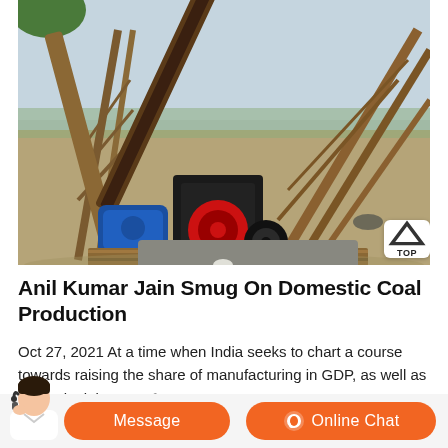[Figure (photo): Outdoor mining/quarry site with heavy machinery including a black and red engine unit with a blue electric motor, metal scaffolding/conveyor structures on dry dusty ground with hills in background]
Anil Kumar Jain Smug On Domestic Coal Production
Oct 27, 2021 At a time when India seeks to chart a course towards raising the share of manufacturing in GDP, as well as expand mining as a f...